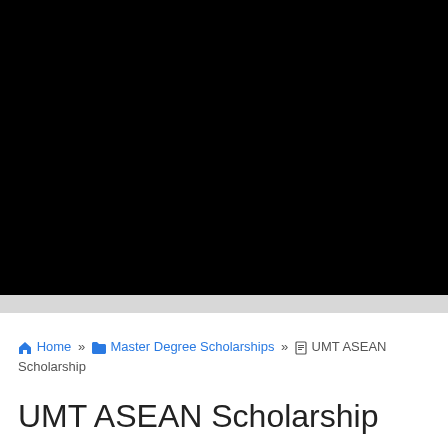[Figure (photo): Large black banner image occupying the top portion of the page, approximately 295px tall]
🏠 Home » 📂 Master Degree Scholarships » 📄 UMT ASEAN Scholarship
UMT ASEAN Scholarship